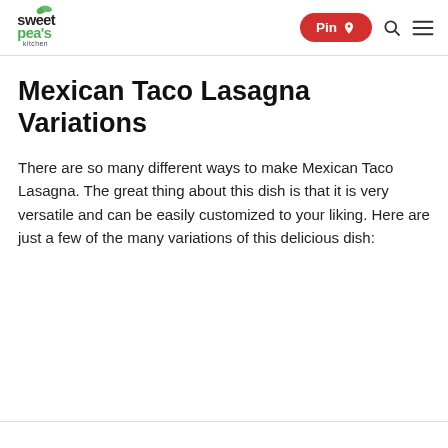Sweet Pea's Kitchen — Pin, Search, Menu
Mexican Taco Lasagna Variations
There are so many different ways to make Mexican Taco Lasagna. The great thing about this dish is that it is very versatile and can be easily customized to your liking. Here are just a few of the many variations of this delicious dish: